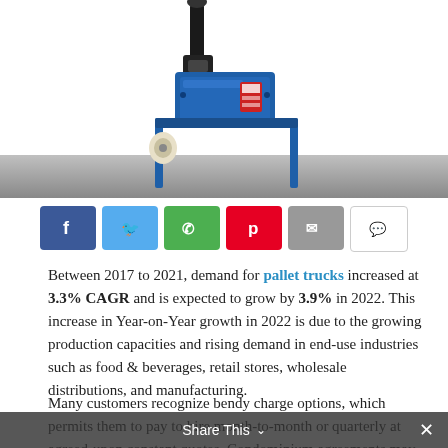[Figure (photo): Photo of a blue pallet truck/hand truck viewed from above-front angle, showing forks, wheels, and hydraulic handle, against white background with gray gradient bar below]
[Figure (infographic): Social media share buttons row: Facebook (blue), Twitter (light blue), WhatsApp (green), Pinterest (red), Email (gray), Comment (white/outlined)]
Between 2017 to 2021, demand for pallet trucks increased at 3.3% CAGR and is expected to grow by 3.9% in 2022. This increase in Year-on-Year growth in 2022 is due to the growing production capacities and rising demand in end-use industries such as food & beverages, retail stores, wholesale distributions, and manufacturing.
Many customers recognize bendy charge options, which permits them to pay to hire month-to-month or quarterly at agreed-upon constant quotes. Condominium agreements may be tailor-made for purchasers in line with their budgetary period. In the imminent, that is predicted to
Share This